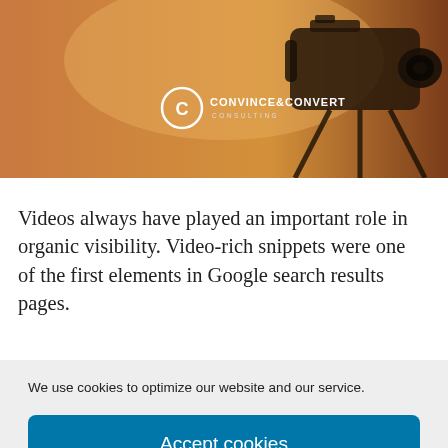[Figure (photo): A camera on a tripod against a warm amber/orange background with Convince & Convert Consulting logo overlay]
Videos always have played an important role in organic visibility. Video-rich snippets were one of the first elements in Google search results pages.
We use cookies to optimize our website and our service.
Accept cookies
Deny
View preferences
EU Cookie Policy